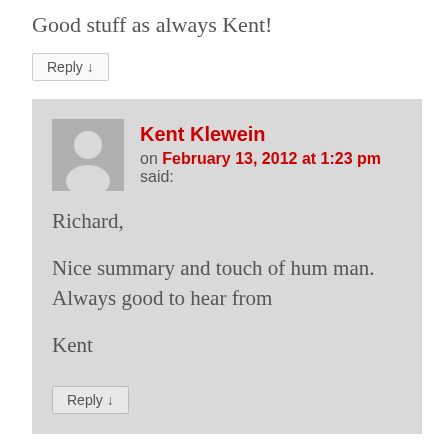Good stuff as always Kent!
Reply ↓
Kent Klewein on February 13, 2012 at 1:23 pm said:
Richard,

Nice summary and touch of hum man. Always good to hear from

Kent
Reply ↓